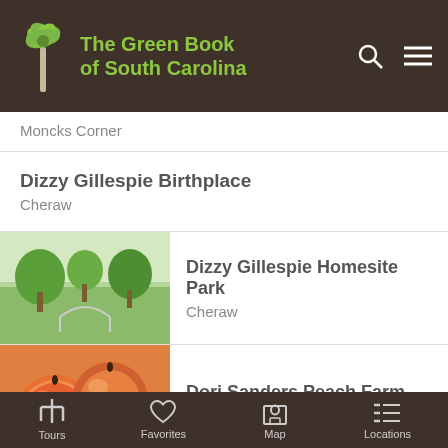The Green Book of South Carolina
Moncks Corner
Dizzy Gillespie Birthplace
Cheraw
Dizzy Gillespie Homesite Park
Cheraw
Dori Sanders Peach Farm
York
Tours | Favorites | Map | Locations